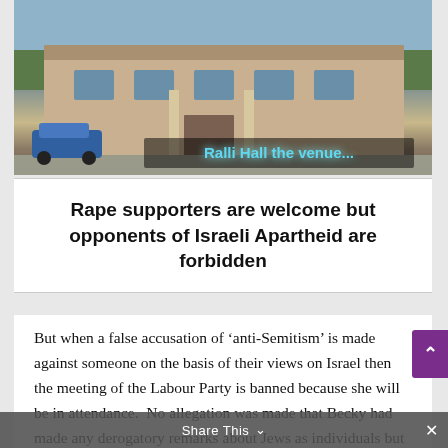[Figure (photo): Photograph of Ralli Hall building exterior with text overlay 'Ralli Hall the venue...' in cyan/blue stylized text]
Rape supporters are welcome but opponents of Israeli Apartheid are forbidden
But when a false accusation of ‘anti-Semitism’ is made against someone on the basis of their views on Israel then the meeting of the Labour Party is banned because she will be in attendance.  No allegation was made that Becky had made any derogatory remarks about Jews as individuals but that Israel had an unhealthy influence on British and American foreign policy – something confirmed by the recent programmes ‘The Lobby’ on Al Jazeera.  You can read the details of